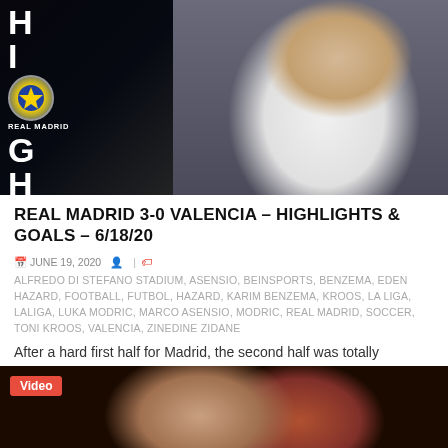[Figure (photo): Thumbnail image showing Real Madrid player in white jersey pointing upward, with team logos and HIGHLIGHTS text overlay on dark left panel]
REAL MADRID 3-0 VALENCIA – HIGHLIGHTS & GOALS – 6/18/20
JUNE 19, 2020  |  ALFREDO DI STEFANO STADIUM, ASENSIO, BEINSPORTS, BENZEMA, EDEN HAZARD, FOOTBALL, FUTBOL, HAZARD, KARIM BENZEMA, KROOS, LA LIGA, LALIGA, LUKA MODRIC, MARCO ASENSIO, MODRIC, REAL MADRID, SOCCER, TONI KROOS, VALENCIA, ZINEDINE ZIDANE
After a hard first half for Madrid, the second half was totally different. Benzema, Hazard &...
[Figure (photo): Video thumbnail showing two people, with a red Video badge in top-left corner]